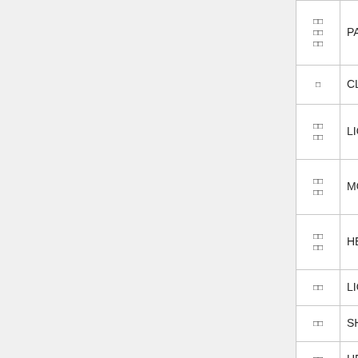| 아이콘 | 날씨코드 | 비고 |
| --- | --- | --- |
| □□
□□
□□ | PARTLY_CLOUDY_NIGHT |  |
| □ | CLOUDY |  |
| □□
□□ | LIGHT_HAZE | PM2.5
□ |
| □□
□□ | MODERATE_HAZE | PM2.5
□□ |
| □□
□□ | HEAVY_HAZE | PM2.5
□□□ |
| □□ | LIGHT_RAIN |  |
| □□ | SHOWERS |  |
| □□ | HEAVY_RAIN |  |
| □□ | RAIN_STORM |  |
| □ | FOG | □□□□□□□□
□□□□□□□□
□□ |
| □□ | LIGHT_SNOW |  |